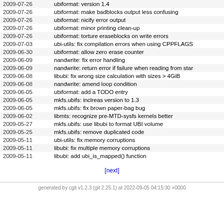| Date | Message |
| --- | --- |
| 2009-07-26 | ubiformat: version 1.4 |
| 2009-07-26 | ubiformat: make badblocks output less confusing |
| 2009-07-26 | ubiformat: nicify error output |
| 2009-07-26 | ubiformat: minor printing clean-up |
| 2009-07-26 | ubiformat: torture eraseblocks on write errors |
| 2009-07-03 | ubi-utils: fix compilation errors when using CPPFLAGS |
| 2009-06-30 | ubiformat: allow zero erase counter |
| 2009-06-09 | nandwrite: fix error handling |
| 2009-06-09 | nandwrite: return error if failure when reading from sta... |
| 2009-06-08 | libubi: fix wrong size calculation with sizes > 4GiB |
| 2009-06-08 | nandwrite: amend loop condition |
| 2009-06-05 | ubiformat: add a TODO entry |
| 2009-06-05 | mkfs.ubifs: inclreas version to 1.3 |
| 2009-06-05 | mkfs.ubifs: fix brown paper-bag bug |
| 2009-06-02 | libmts: recognize pre-MTD-sysfs kernels better |
| 2009-05-27 | mkfs.ubifs: use libubi to format UBI volume |
| 2009-05-25 | mkfs.ubifs: remove duplicated code |
| 2009-05-11 | ubi-utils: fix memory corruptions |
| 2009-05-11 | libubi: fix multiple memory corruptions |
| 2009-05-11 | libubi: add ubi_is_mapped() function |
[next]
generated by cgit v1.2.3 (git 2.25.1) at 2022-09-05 04:15:30 +0000